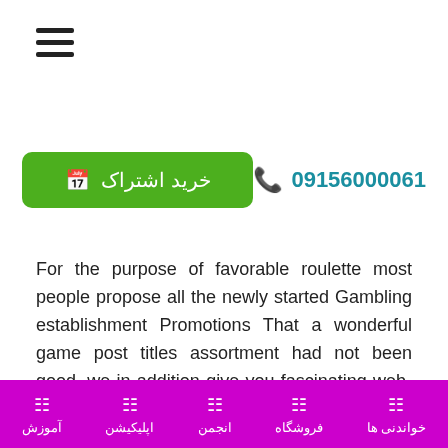[Figure (other): Hamburger menu icon (three horizontal lines)]
خرید اشتراک  📅
09156000061 📞
For the purpose of favorable roulette most people propose all the newly started Gambling establishment Promotions That a wonderful game post titles assortment had not been good, we in addition give you fascinating web-based on line casino promotions to assist you to remember the beginning of a good brand-new gaming, the enormous things to do together with celebration.
آموزش | اپلیکیشن | انجمن | فروشگاه | خواندنی ها